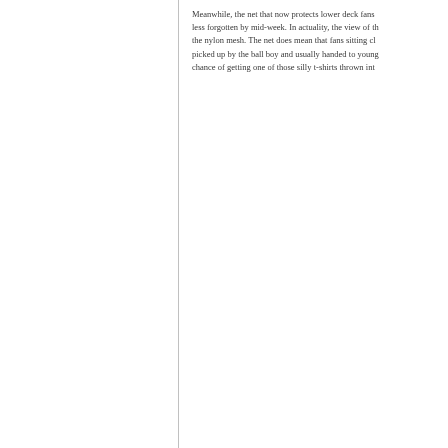Meanwhile, the net that now protects lower deck fans less forgotten by mid-week. In actuality, the view of the nylon mesh. The net does mean that fans sitting cl picked up by the ball boy and usually handed to young chance of getting one of those silly t-shirts thrown int